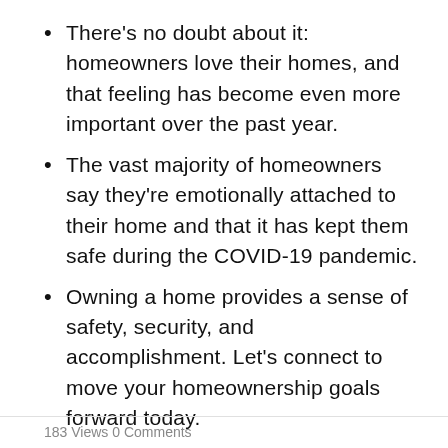There’s no doubt about it: homeowners love their homes, and that feeling has become even more important over the past year.
The vast majority of homeowners say they’re emotionally attached to their home and that it has kept them safe during the COVID-19 pandemic.
Owning a home provides a sense of safety, security, and accomplishment. Let’s connect to move your homeownership goals forward today.
183 Views  0 Comments